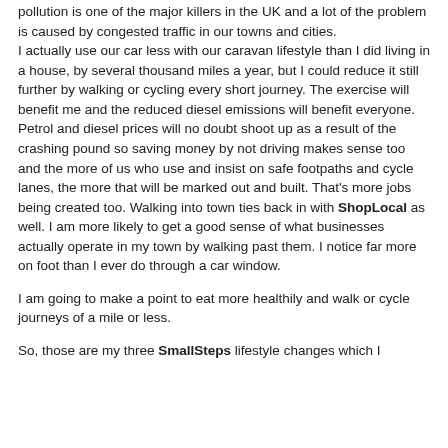pollution is one of the major killers in the UK and a lot of the problem is caused by congested traffic in our towns and cities.
I actually use our car less with our caravan lifestyle than I did living in a house, by several thousand miles a year, but I could reduce it still further by walking or cycling every short journey. The exercise will benefit me and the reduced diesel emissions will benefit everyone. Petrol and diesel prices will no doubt shoot up as a result of the crashing pound so saving money by not driving makes sense too and the more of us who use and insist on safe footpaths and cycle lanes, the more that will be marked out and built. That's more jobs being created too. Walking into town ties back in with ShopLocal as well. I am more likely to get a good sense of what businesses actually operate in my town by walking past them. I notice far more on foot than I ever do through a car window.
I am going to make a point to eat more healthily and walk or cycle journeys of a mile or less.
So, those are my three SmallSteps lifestyle changes which I